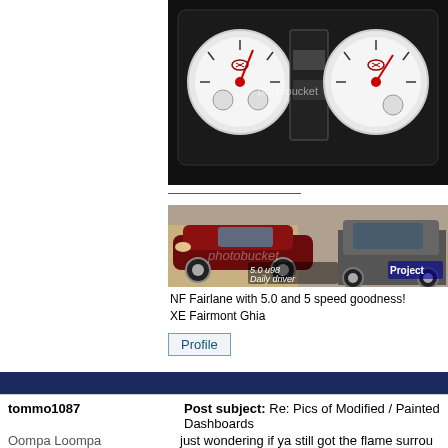[Figure (photo): Car dashboard gauge cluster with white faces and red needles, Photobucket watermark visible]
[Figure (photo): Dark red NF Fairlane car and a classic XE Fairmont Ghia car in a parking area, with text overlays '5.0 u98 Daily driver' and 'Project']
NF Fairlane with 5.0 and 5 speed goodness! XE Fairmont Ghia
Top
Profile
tommo1087
Post subject: Re: Pics of Modified / Painted Dashboards
Oompa Loompa
just wondering if ya still got the flame surrou